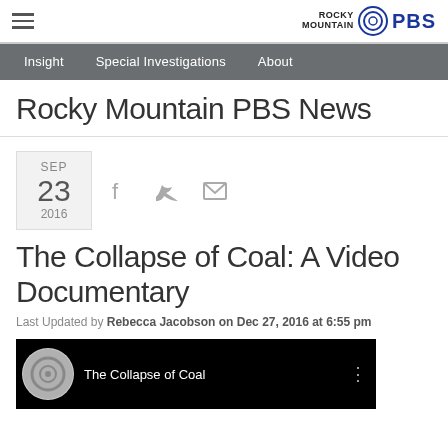Rocky Mountain PBS
Insight   Special Investigations   About
Rocky Mountain PBS News
SEP 23 2016
The Collapse of Coal: A Video Documentary
Last Updated by Rebecca Jacobson on Dec 27, 2016 at 6:55 pm
[Figure (screenshot): Video thumbnail showing 'The Collapse of Coal' with circular logo on black background]